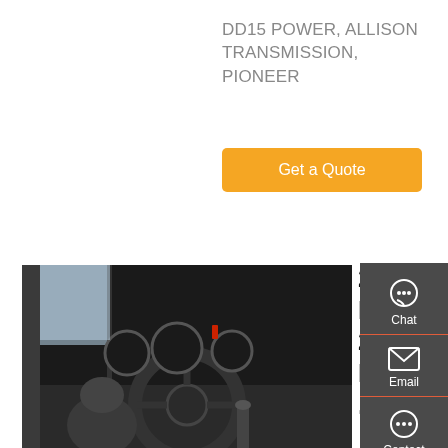DD15 POWER, ALLISON TRANSMISSION, PIONEER
[Figure (other): Orange 'Get a Quote' button]
[Figure (photo): Interior cab view of a truck with steering wheel and dashboard]
2 Ton 4x2 Mini Diesel Dump Trucks For Sale, 2 Ton 4x2 Mini Diesel Dump Trucks For Sale ...
2 ton 4x2 mini diesel dump trucks for sale, Wholesale Various High Quality 2 ton 4x2 mini diesel dump trucks for sale Products from Global Sodium
[Figure (infographic): Dark sidebar with Chat, Email, Contact, and Top navigation icons]